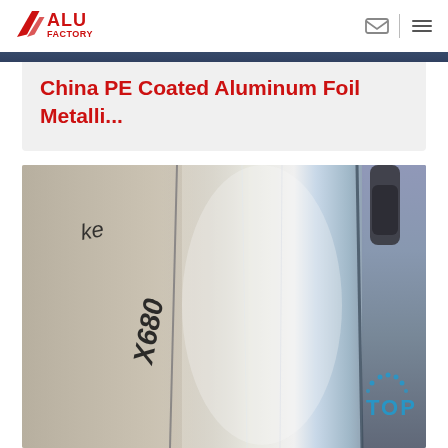ALU FACTORY
China PE Coated Aluminum Foil Metalli…
[Figure (photo): Close-up photograph of a shiny metallic aluminum foil roll with handwritten text 'X680' visible on the left side. The foil has a reflective silver surface. A 'TOP' watermark logo appears in the bottom right corner.]